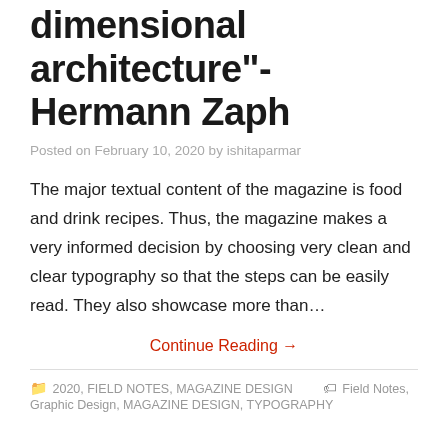dimensional architecture”- Hermann Zaph
Posted on February 10, 2020 by ishitaparmar
The major textual content of the magazine is food and drink recipes. Thus, the magazine makes a very informed decision by choosing very clean and clear typography so that the steps can be easily read. They also showcase more than…
Continue Reading →
2020, FIELD NOTES, MAGAZINE DESIGN   Field Notes, Graphic Design, MAGAZINE DESIGN, TYPOGRAPHY